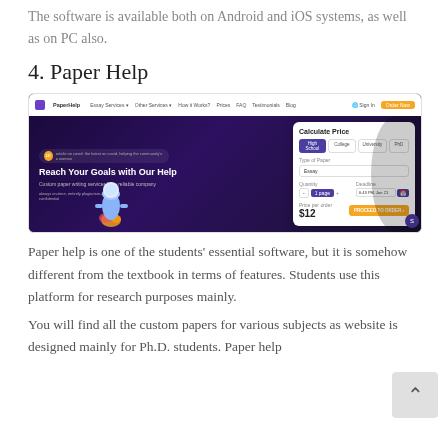The software is available both on Android and iOS systems, as well as on PC also.
4. Paper Help
[Figure (screenshot): Screenshot of the Paper Help website homepage showing navigation bar with logo, menu items (Essay Services, Other Services, How it Works?, Prices, FAQ, Testimonials, Blog), and Sign In / Order Now buttons. Main hero section with dark space background shows headline 'Reach Your Goals with Our Help', subtext 'Custom paper writing services by a reliable company', an astronaut illustration on a rocket, and a 'Calculate Price' widget on the right with academic level buttons (High School, College, University, PhD), Type of Paper dropdown (Essay), Quantity and Deadline fields, price showing $12 and a yellow 'PROCEED TO ORDER' button.]
Paper help is one of the students' essential software, but it is somehow different from the textbook in terms of features. Students use this platform for research purposes mainly.
You will find all the custom papers for various subjects as website is designed mainly for Ph.D. students. Paper help